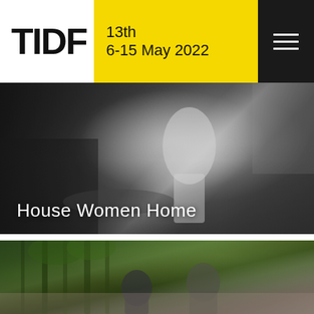TIDF 13th 6-15 May 2022
[Figure (photo): Black and white still from documentary film 'House Women Home' showing a kitchen scene with a seated person on the left and a bright white figure standing in the center, various objects on tables and shelves in the background]
House Women Home
[Figure (photo): Color photograph showing two men standing among bamboo trees and green foliage, with traditional architecture visible in the background]